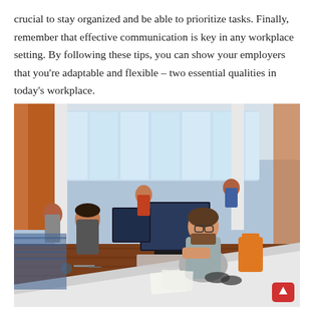crucial to stay organized and be able to prioritize tasks. Finally, remember that effective communication is key in any workplace setting. By following these tips, you can show your employers that you're adaptable and flexible – two essential qualities in today's workplace.
[Figure (photo): A wide-angle fisheye photograph of a modern open-plan office with large windows. Multiple people are working at white desks with computers. One man with glasses and a beard is prominently featured in the foreground, seated and looking at a laptop. Orange chairs and wooden floors are visible. A red scroll-to-top button appears in the bottom-right corner.]